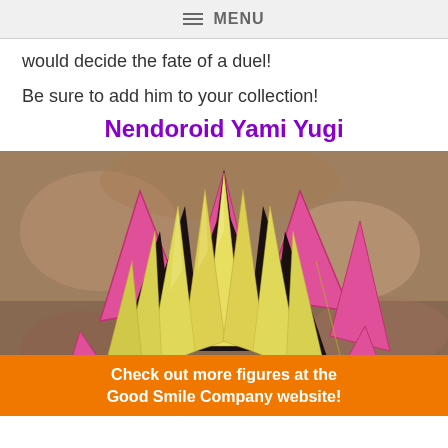≡ MENU
would decide the fate of a duel!
Be sure to add him to your collection!
Nendoroid Yami Yugi
[Figure (photo): Close-up photo of a Nendoroid Yami Yugi figure showing the distinctive spiky yellow and pink hair.]
Check out more figures at the Good Smile Company website!